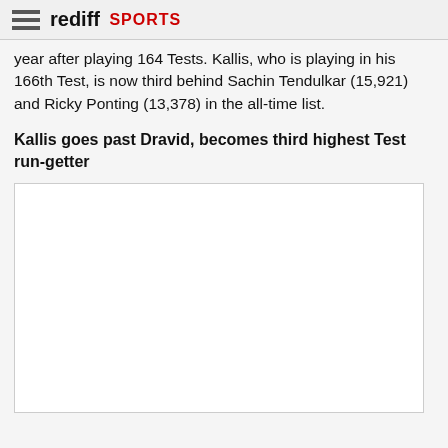rediff SPORTS
year after playing 164 Tests. Kallis, who is playing in his 166th Test, is now third behind Sachin Tendulkar (15,921) and Ricky Ponting (13,378) in the all-time list.
Kallis goes past Dravid, becomes third highest Test run-getter
[Figure (photo): Empty image placeholder box]